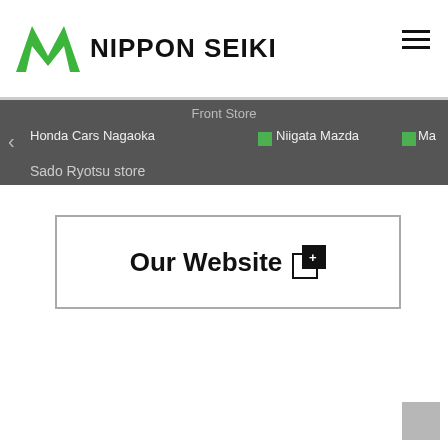[Figure (logo): Nippon Seiki logo with green NS chevron icon and bold text NIPPON SEIKI]
[Figure (screenshot): Navigation menu bar with hamburger icon, Front Store label, Honda Cars Nagaoka, Niigata Mazda entries with green dots, partial Ma… entry, and Sado Ryotsu store sub-item on dark grey background]
Our Website
[Figure (screenshot): Scroll to top button in bottom right corner, grey rounded square]